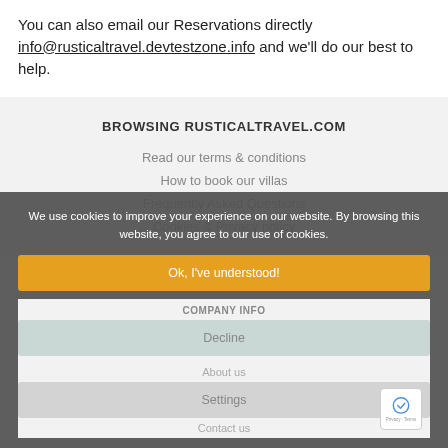You can also email our Reservations directly info@rusticaltravel.devtestzone.info and we'll do our best to help.
BROWSING RUSTICALTRAVEL.COM
Read our terms & conditions
How to book our villas
Frequently Asked Questions
Cookies & Privacy policy
We use cookies to improve your experience on our website. By browsing this website, you agree to our use of cookies.
Ok, I've understood!
COMPANY INFO
Decline
About us
Settings
Contact us